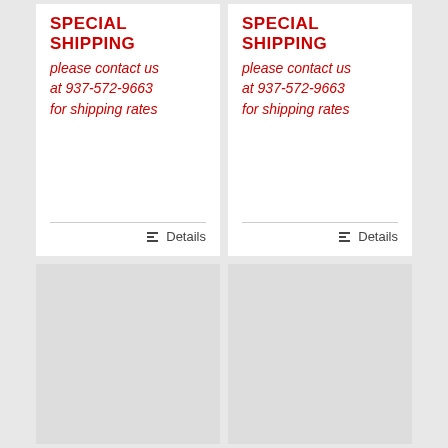SPECIAL SHIPPING
please contact us at 937-572-9663 for shipping rates
Details
SPECIAL SHIPPING
please contact us at 937-572-9663 for shipping rates
Details
[Figure (other): Gray placeholder image block]
[Figure (other): Gray placeholder image block]